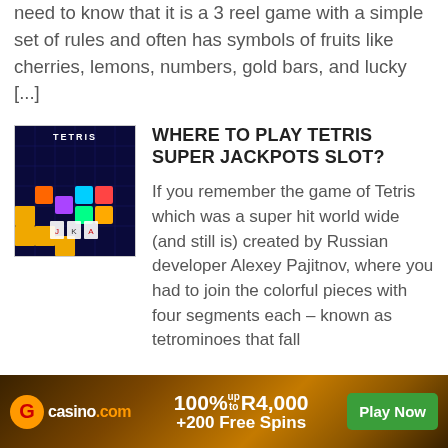need to know that it is a 3 reel game with a simple set of rules and often has symbols of fruits like cherries, lemons, numbers, gold bars, and lucky [...]
WHERE TO PLAY TETRIS SUPER JACKPOTS SLOT?
[Figure (screenshot): Screenshot of Tetris Super Jackpots slot game on mobile devices, showing colorful tetromino blocks on a dark blue grid background]
If you remember the game of Tetris which was a super hit world wide (and still is) created by Russian developer Alexey Pajitnov, where you had to join the colorful pieces with four segments each – known as tetrominoes that fall
[Figure (infographic): Casino.com advertisement banner: 100% up to R4,000 +200 Free Spins, Play Now button]